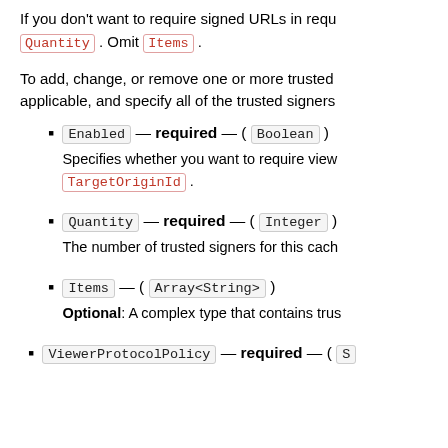If you don't want to require signed URLs in requ Quantity . Omit Items .
To add, change, or remove one or more trusted applicable, and specify all of the trusted signers
Enabled — required — ( Boolean )
Specifies whether you want to require view TargetOriginId .
Quantity — required — ( Integer )
The number of trusted signers for this cach
Items — ( Array<String> )
Optional: A complex type that contains trus
ViewerProtocolPolicy — required — ( S